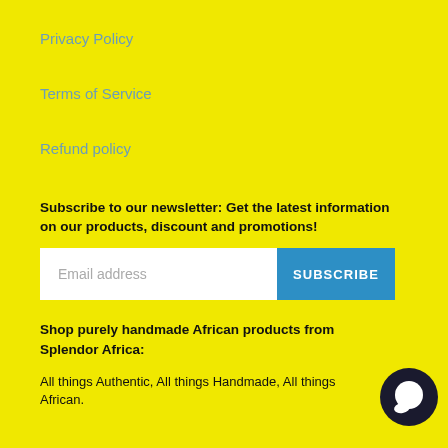Privacy Policy
Terms of Service
Refund policy
Subscribe to our newsletter: Get the latest information on our products, discount and promotions!
[Figure (other): Email address input field with SUBSCRIBE button]
Shop purely handmade African products from Splendor Africa:
All things Authentic, All things Handmade, All things African.
[Figure (other): Chat bubble icon in dark circle]